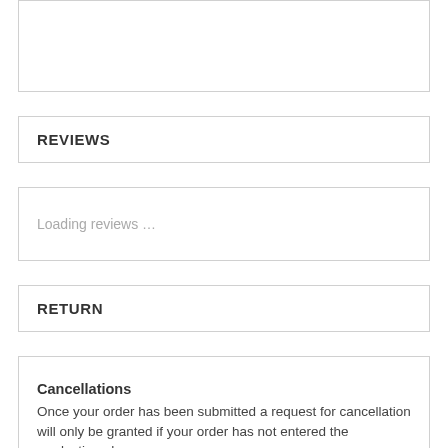REVIEWS
Loading reviews …
RETURN
Cancellations
Once your order has been submitted a request for cancellation will only be granted if your order has not entered the production phase.

All cancellations are at the discretion of Celebration Giftware.

Please note there will be a 6% non-refundable cancellation fee to cover payment processing and restocking costs for ALL cancellations.